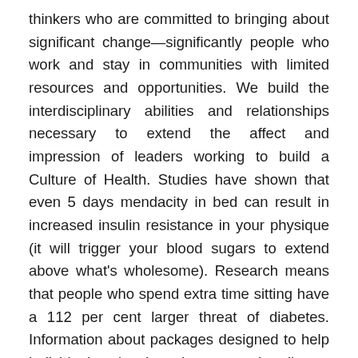thinkers who are committed to bringing about significant change—significantly people who work and stay in communities with limited resources and opportunities. We build the interdisciplinary abilities and relationships necessary to extend the affect and impression of leaders working to build a Culture of Health. Studies have shown that even 5 days mendacity in bed can result in increased insulin resistance in your physique (it will trigger your blood sugars to extend above what's wholesome). Research means that people who spend extra time sitting have a 112 per cent larger threat of diabetes. Information about packages designed to help individuals quit using tobacco merchandise.
Once an individual has health insurance, there is no assure that they may obtain the medical providers that they need. Not because their plan is insufficiently sturdy, however because the